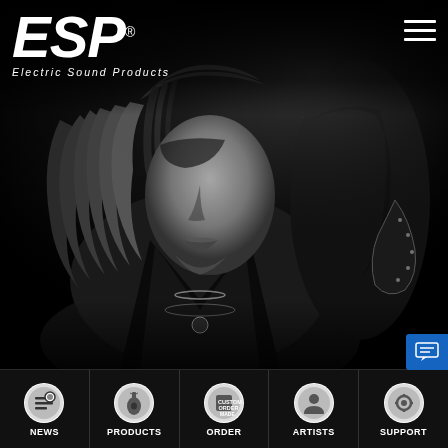[Figure (logo): ESP Electric Sound Products logo in white italic bold text on black background with registered trademark symbol]
[Figure (photo): Black and white performance photo of a Japanese rock guitarist with long dark hair, wearing a leather jacket and necklaces, performing on stage]
NEWS | PRODUCTS | ORDER | ARTISTS | SUPPORT